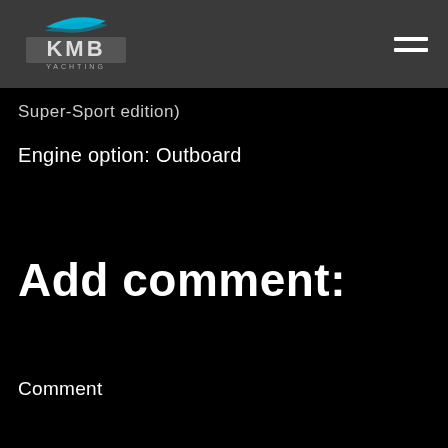[Figure (logo): KMB Yachting logo with stylized boat and blue accent on dark grey header bar]
Super-Sport edition)
Engine option: Outboard
Add comment:
Comment